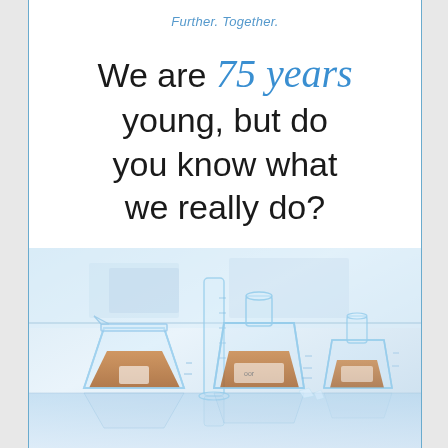Further. Together.
We are 75 years young, but do you know what we really do?
[Figure (photo): Laboratory glassware including a beaker, a graduated cylinder, and two Erlenmeyer flasks containing amber/orange liquid, on a reflective surface with a bright blue-white lab background.]